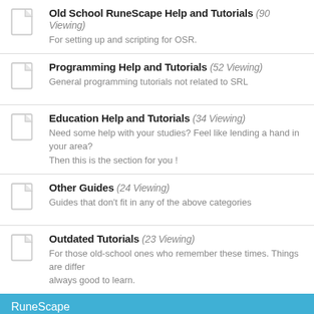Old School RuneScape Help and Tutorials (90 Viewing) — For setting up and scripting for OSR.
Programming Help and Tutorials (52 Viewing) — General programming tutorials not related to SRL
Education Help and Tutorials (34 Viewing) — Need some help with your studies? Feel like lending a hand in your area? Then this is the section for you!
Other Guides (24 Viewing) — Guides that don't fit in any of the above categories
Outdated Tutorials (23 Viewing) — For those old-school ones who remember these times. Things are different, but always good to learn.
RuneScape